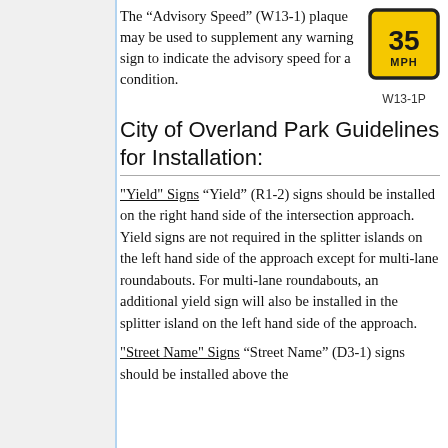The “Advisory Speed” (W13-1) plaque may be used to supplement any warning sign to indicate the advisory speed for a condition.
[Figure (other): Advisory speed sign showing '35 MPH' in black text on yellow background with black border, labeled W13-1P below]
City of Overland Park Guidelines for Installation:
"Yield" Signs “Yield” (R1-2) signs should be installed on the right hand side of the intersection approach. Yield signs are not required in the splitter islands on the left hand side of the approach except for multi-lane roundabouts. For multi-lane roundabouts, an additional yield sign will also be installed in the splitter island on the left hand side of the approach.
"Street Name" Signs “Street Name” (D3-1) signs should be installed above the